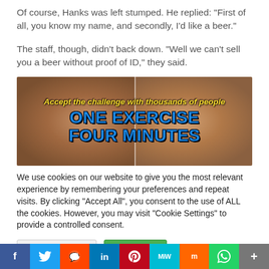Of course, Hanks was left stumped. He replied: “First of all, you know my name, and secondly, I’d like a beer.”
The staff, though, didn’t back down. “Well we can’t sell you a beer without proof of ID,” they said.
[Figure (infographic): Advertisement banner showing before/after belly photos with text: Accept the challenge with thousands of people / ONE EXERCISE / FOUR MINUTES]
We use cookies on our website to give you the most relevant experience by remembering your preferences and repeat visits. By clicking “Accept All”, you consent to the use of ALL the cookies. However, you may visit "Cookie Settings" to provide a controlled consent.
Cookie Settings | Accept All
f | Twitter | Reddit | in | Pinterest | MW | Mix | WhatsApp | +